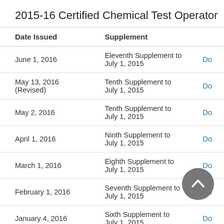2015-16 Certified Chemical Test Operator
| Date Issued | Supplement |  |
| --- | --- | --- |
| June 1, 2016 | Eleventh Supplement to July 1, 2015 | Do |
| May 13, 2016 (Revised) | Tenth Supplement to July 1, 2015 | Do |
| May 2, 2016 | Tenth Supplement to July 1, 2015 | Do |
| April 1, 2016 | Ninth Supplement to July 1, 2015 | Do |
| March 1, 2016 | Eighth Supplement to July 1, 2015 | Do |
| February 1, 2016 | Seventh Supplement to July 1, 2015 | Do |
| January 4, 2016 | Sixth Supplement to July 1, 2015 | Do |
| December 1, 2015 | Fifth Supplement to July 1, 2015 | Do |
| November 2, 2015 | Fourth Supplement to July 1, 2015 | Do |